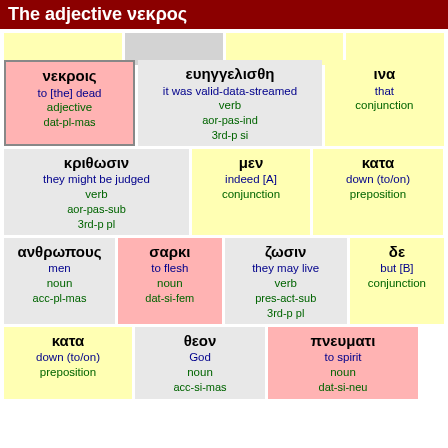The adjective νεκρος
| νεκροις / to [the] dead / adjective / dat-pl-mas | ευηγγελισθη / it was valid-data-streamed / verb / aor-pas-ind / 3rd-p si | ινα / that / conjunction |
| κριθωσιν / they might be judged / verb / aor-pas-sub / 3rd-p pl | μεν / indeed [A] / conjunction | κατα / down (to/on) / preposition |
| ανθρωπους / men / noun / acc-pl-mas | σαρκι / to flesh / noun / dat-si-fem | ζωσιν / they may live / verb / pres-act-sub / 3rd-p pl | δε / but [B] / conjunction |
| κατα / down (to/on) / preposition | θεον / God / noun / acc-si-mas | πνευματι / to spirit / noun / dat-si-neu |